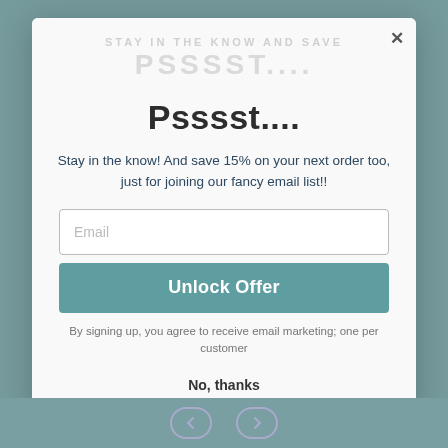[Figure (screenshot): Website background with teal/grey color visible behind modal popup]
Psssst....
Stay in the know! And save 15% on your next order too, just for joining our fancy email list!!
Email
Unlock Offer
By signing up, you agree to receive email marketing; one per customer
No, thanks